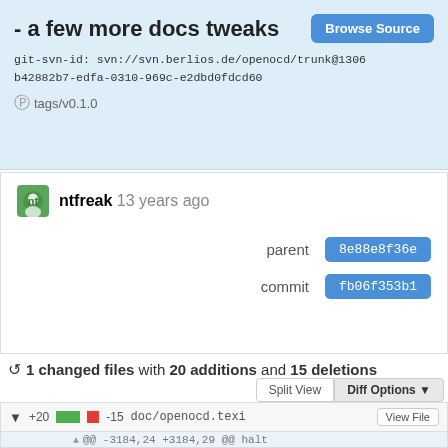- a few more docs tweaks
git-svn-id: svn://svn.berlios.de/openocd/trunk@1306 b42882b7-edfa-0310-969c-e2dbd0fdcd60
tags/v0.1.0
ntfreak 13 years ago
parent 8e88e8f36e
commit fb06f353b1
1 changed files with 20 additions and 15 deletions
Split View | Diff Options
+20 -15 doc/openocd.texi
@@ -3184,24 +3184,29 @@ halt
3184 3184 @*
3185 3185
3196 3196 In digital circuit design it is often ro